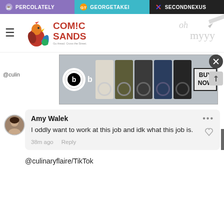PERCOLATELY | GEORGETAKEI | SECONDNEXUS
[Figure (screenshot): Comic Sands website header with rooster logo and hamburger menu]
[Figure (photo): Beats by Dre headphones advertisement with BUY NOW button]
@culin
Amy Walek
I oddly want to work at this job and idk what this job is.
38m ago   Reply
@culinaryflaire/TikTok